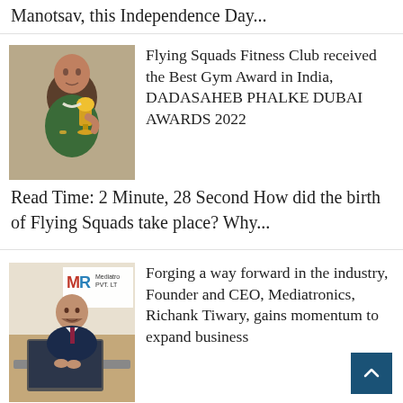Manotsav, this Independence Day...
[Figure (photo): Man in green patterned shirt holding a gold trophy award]
Flying Squads Fitness Club received the Best Gym Award in India, DADASAHEB PHALKE DUBAI AWARDS 2022
Read Time: 2 Minute, 28 Second How did the birth of Flying Squads take place? Why...
[Figure (photo): Man in blue suit sitting at desk with laptop, Mediatronics PVT. LTD. logo visible in background]
Forging a way forward in the industry, Founder and CEO, Mediatronics, Richank Tiwary, gains momentum to expand business
Read Time: 3 Minute, 5